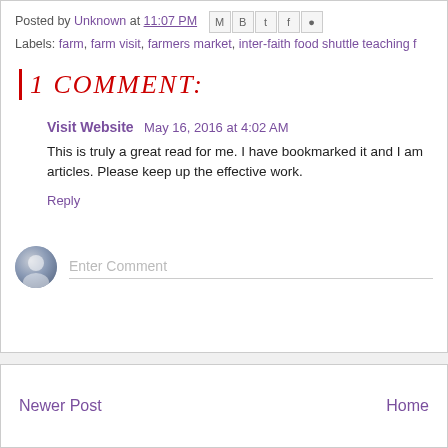Posted by Unknown at 11:07 PM
Labels: farm, farm visit, farmers market, inter-faith food shuttle teaching f
1 COMMENT:
Visit Website  May 16, 2016 at 4:02 AM
This is truly a great read for me. I have bookmarked it and I am looking forward to reading new articles. Please keep up the effective work.
Reply
Enter Comment
Newer Post
Home